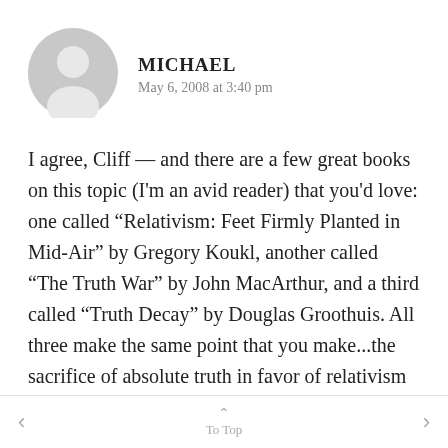MICHAEL
May 6, 2008 at 3:40 pm
I agree, Cliff — and there are a few great books on this topic (I'm an avid reader) that you'd love: one called “Relativism: Feet Firmly Planted in Mid-Air” by Gregory Koukl, another called “The Truth War” by John MacArthur, and a third called “Truth Decay” by Douglas Groothuis. All three make the same point that you make...the sacrifice of absolute truth in favor of relativism and moral subjectivism in
< To Top >